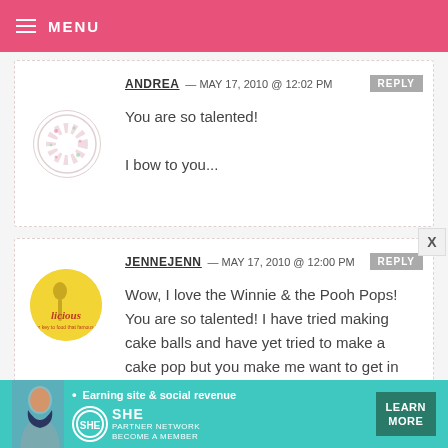MENU
ANDREA — MAY 17, 2010 @ 12:02 PM   REPLY
You are so talented!

I bow to you...
JENNEJENN — MAY 17, 2010 @ 12:00 PM   REPLY
Wow, I love the Winnie & the Pooh Pops! You are so talented! I have tried making cake balls and have yet tried to make a cake pop but you make me want to get in the kitchen and try!
[Figure (other): Advertisement banner for SHE Media Partner Network: Earning site & social revenue. Learn More button.]